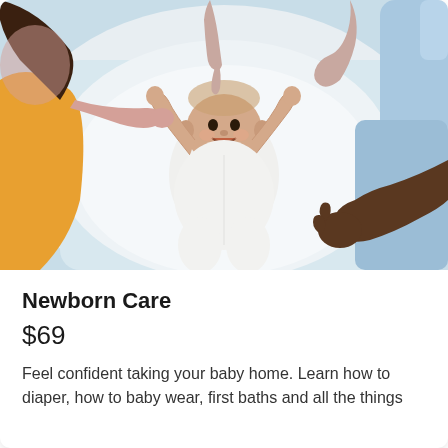[Figure (photo): Overhead view of a smiling baby in white clothing lying on a white surface, with two adults (a woman with dark hair on the left in an orange top, and a person in a light blue long-sleeve shirt on the right) holding the baby's hands from either side.]
Newborn Care
$69
Feel confident taking your baby home. Learn how to diaper, how to baby wear, first baths and all the things